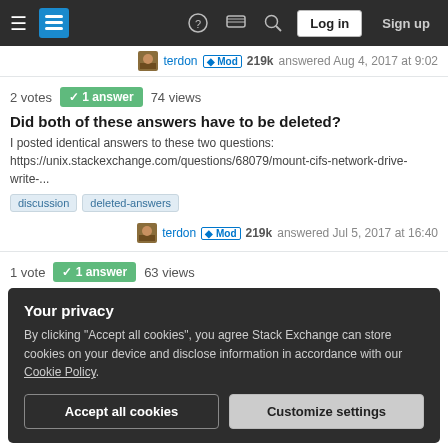Stack Exchange navigation bar with Log in and Sign up buttons
terdon ◆ Mod 219k answered Aug 4, 2017 at 9:02
2 votes ✓ 1 answer 74 views
Did both of these answers have to be deleted?
I posted identical answers to these two questions: https://unix.stackexchange.com/questions/68079/mount-cifs-network-drive-write-...
discussion
deleted-answers
terdon ◆ Mod 219k answered Jul 5, 2017 at 16:40
1 vote ✓ 1 answer 63 views
Your privacy
By clicking "Accept all cookies", you agree Stack Exchange can store cookies on your device and disclose information in accordance with our Cookie Policy.
Accept all cookies | Customize settings
1 vote ✓ 1 answer 30 views